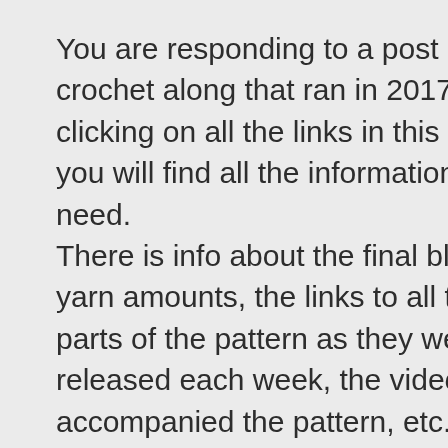You are responding to a post about a crochet along that ran in 2017. By clicking on all the links in this post you will find all the information you need. There is info about the final blanket, yarn amounts, the links to all the parts of the pattern as they were released each week, the videos that accompanied the pattern, etc. This project is a compilation of different designs by different people, so there is no one file